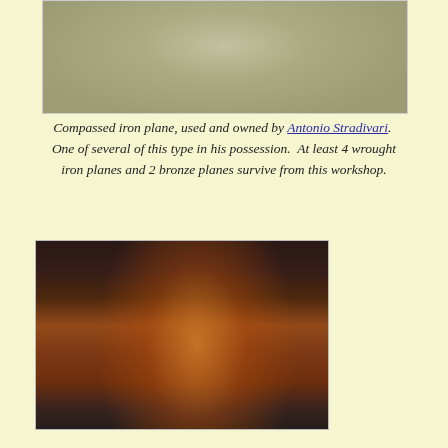[Figure (photo): Compassed iron plane, a metallic tool with textured surface, partial view cropped at top of page]
Compassed iron plane, used and owned by Antonio Stradivari. One of several of this type in his possession. At least 4 wrought iron planes and 2 bronze planes survive from this workshop.
[Figure (photo): A musician in a black suit holding a Stradivarius viola, with a bow, in front of what appears to be a piano or orchestra setting]
Stradivarius viola. Photo from Newsweek.